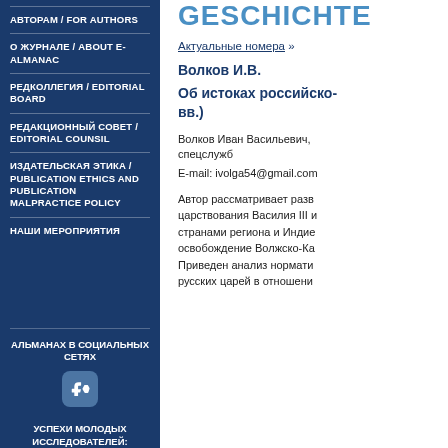АВТОРАМ / FOR AUTHORS
О ЖУРНАЛЕ / ABOUT E-ALMANAC
РЕДКОЛЛЕГИЯ / EDITORIAL BOARD
РЕДАКЦИОННЫЙ СОВЕТ / EDITORIAL COUNSIL
ИЗДАТЕЛЬСКАЯ ЭТИКА / PUBLICATION ETHICS AND PUBLICATION MALPRACTICE POLICY
НАШИ МЕРОПРИЯТИЯ
АЛЬМАНАХ В СОЦИАЛЬНЫХ СЕТЯХ
[Figure (logo): VK social network icon button]
УСПЕХИ МОЛОДЫХ ИССЛЕДОВАТЕЛЕЙ:
GESCHICHTE
Актуальные номера »
Волков И.В.
Об истоках российско- вв.)
Волков Иван Васильевич, спецслужб
E-mail: ivolga54@gmail.com
Автор рассматривает развитие царствования Василия III и странами региона и Индие освобождение Волжско-Ка Приведен анализ нормати русских царей в отношении